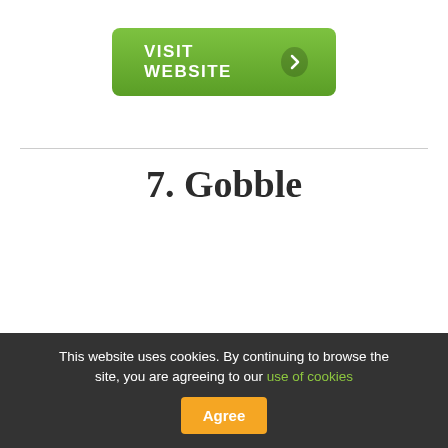[Figure (other): Green 'VISIT WEBSITE' button with arrow icon]
7. Gobble
This website uses cookies. By continuing to browse the site, you are agreeing to our use of cookies   Agree